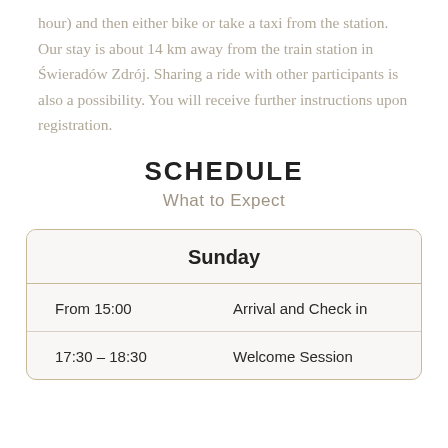hour) and then either bike or take a taxi from the station. Our stay is about 14 km away from the train station in Świeradów Zdrój. Sharing a ride with other participants is also a possibility. You will receive further instructions upon registration.
SCHEDULE
What to Expect
|  | Sunday |
| --- | --- |
| From 15:00 | Arrival and Check in |
| 17:30 – 18:30 | Welcome Session |